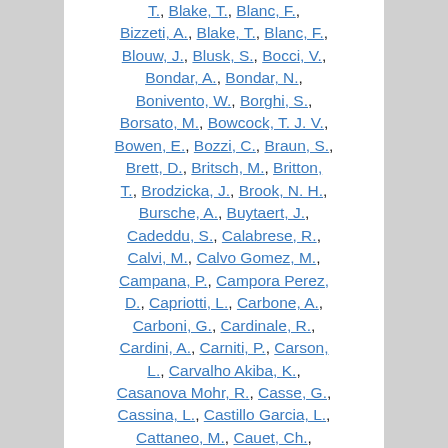Bizzeti, A., Blake, T., Blanc, F., Blouw, J., Blusk, S., Bocci, V., Bondar, A., Bondar, N., Bonivento, W., Borghi, S., Borsato, M., Bowcock, T. J. V., Bowen, E., Bozzi, C., Braun, S., Brett, D., Britsch, M., Britton, T., Brodzicka, J., Brook, N. H., Bursche, A., Buytaert, J., Cadeddu, S., Calabrese, R., Calvi, M., Calvo Gomez, M., Campana, P., Campora Perez, D., Capriotti, L., Carbone, A., Carboni, G., Cardinale, R., Cardini, A., Carniti, P., Carson, L., Carvalho Akiba, K., Casanova Mohr, R., Casse, G., Cassina, L., Castillo Garcia, L., Cattaneo, M., Cauet, Ch., Cavallero, G., Cenci, R., Charles, M., Charpentier, Ph., Chefdeville, M., Chen, S.,